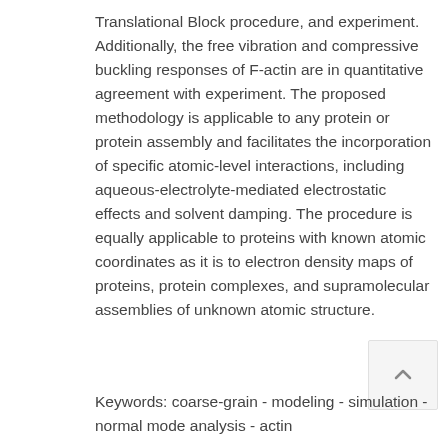Translational Block procedure, and experiment. Additionally, the free vibration and compressive buckling responses of F-actin are in quantitative agreement with experiment. The proposed methodology is applicable to any protein or protein assembly and facilitates the incorporation of specific atomic-level interactions, including aqueous-electrolyte-mediated electrostatic effects and solvent damping. The procedure is equally applicable to proteins with known atomic coordinates as it is to electron density maps of proteins, protein complexes, and supramolecular assemblies of unknown atomic structure.
Keywords: coarse-grain - modeling - simulation - normal mode analysis - actin